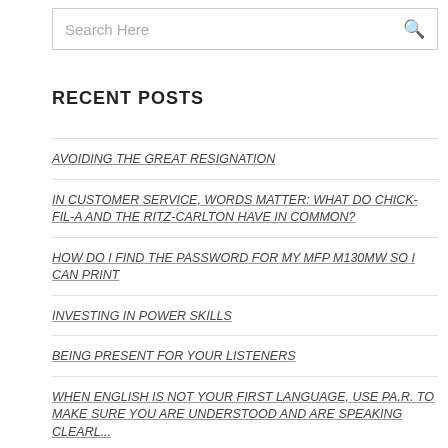Search Here
RECENT POSTS
AVOIDING THE GREAT RESIGNATION
IN CUSTOMER SERVICE, WORDS MATTER: WHAT DO CHICK-FIL-A AND THE RITZ-CARLTON HAVE IN COMMON?
HOW DO I FIND THE PASSWORD FOR MY MFP M130MW SO I CAN PRINT
INVESTING IN POWER SKILLS
BEING PRESENT FOR YOUR LISTENERS
WHEN ENGLISH IS NOT YOUR FIRST LANGUAGE, USE PA.R. TO MAKE SURE YOU ARE UNDERSTOOD AND ARE SPEAKING CLEARLY
RAMPANT REDUNDANCIES